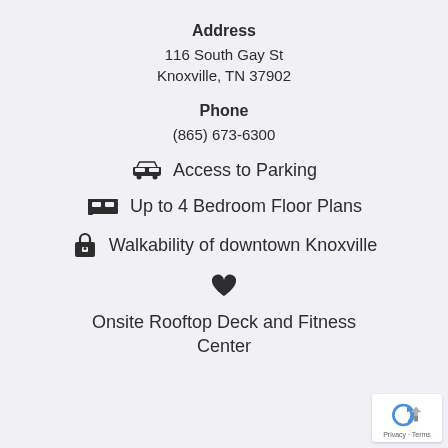Address
116 South Gay St
Knoxville, TN 37902
Phone
(865) 673-6300
Access to Parking
Up to 4 Bedroom Floor Plans
Walkability of downtown Knoxville
Onsite Rooftop Deck and Fitness Center